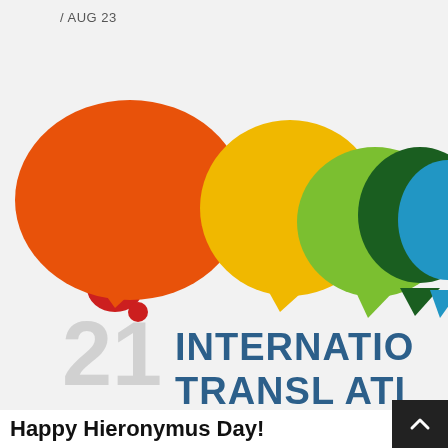/ AUG 23
[Figure (illustration): Colorful speech bubble icons in red, orange, yellow, light green, dark green, and blue/teal arranged in a row, partially cropped. Below the bubbles is large text reading '21 INTERNATIONAL TRANSLATION' in gray and dark blue, partially visible.]
Happy Hieronymus Day!